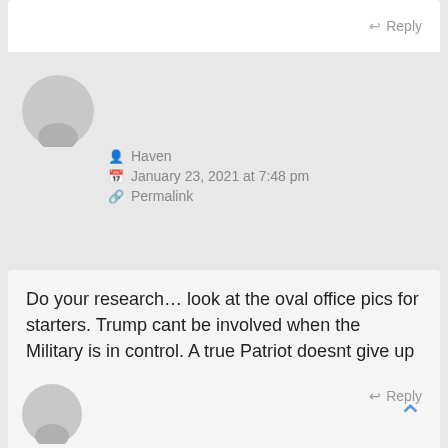Reply
Haven
January 23, 2021 at 7:48 pm
Permalink
Do your research… look at the oval office pics for starters. Trump cant be involved when the Military is in control. A true Patriot doesnt give up
Reply